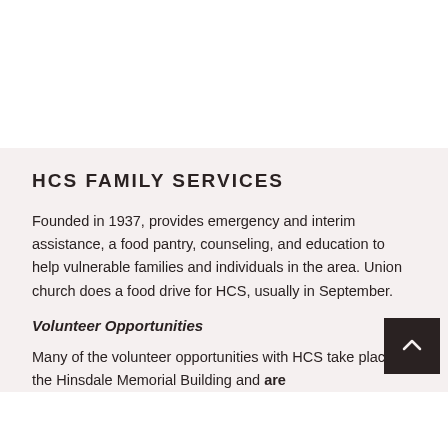HCS FAMILY SERVICES
Founded in 1937, provides emergency and interim assistance, a food pantry, counseling, and education to help vulnerable families and individuals in the area. Union church does a food drive for HCS, usually in September.
Volunteer Opportunities
Many of the volunteer opportunities with HCS take place at the Hinsdale Memorial Building and are